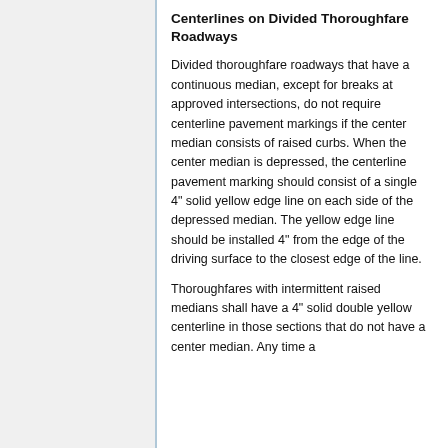Centerlines on Divided Thoroughfare Roadways
Divided thoroughfare roadways that have a continuous median, except for breaks at approved intersections, do not require centerline pavement markings if the center median consists of raised curbs. When the center median is depressed, the centerline pavement marking should consist of a single 4" solid yellow edge line on each side of the depressed median. The yellow edge line should be installed 4" from the edge of the driving surface to the closest edge of the line.
Thoroughfares with intermittent raised medians shall have a 4" solid double yellow centerline in those sections that do not have a center median. Any time a